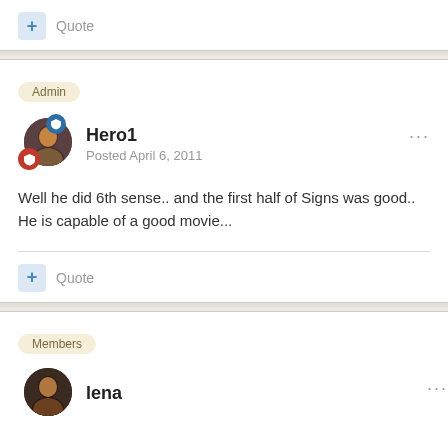+ Quote
Admin
Hero1
Posted April 6, 2011
Well he did 6th sense.. and the first half of Signs was good.. He is capable of a good movie...
+ Quote
Members
lena